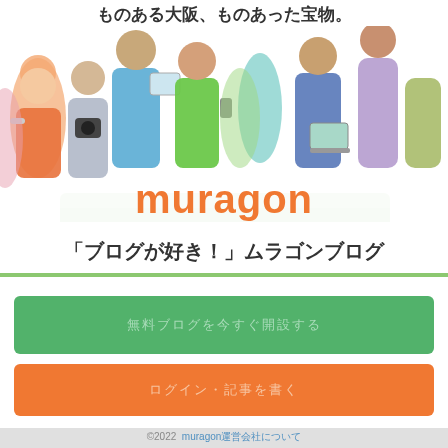ものある大阪、ものあった宝物。
[Figure (illustration): Colorful illustration of diverse people with devices (tablet, camera, smartphone, laptop) around the orange Muragon logo on a white/green platform. Characters include men, women, elderly, young people in various colors.]
「ブログが好き！」ムラゴンブログ
無料ブログを今すぐ開設する
ログイン・記事を書く
©2022  muragon運営会社について